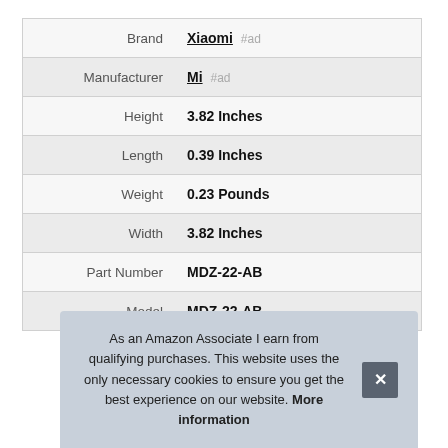| Attribute | Value |
| --- | --- |
| Brand | Xiaomi #ad |
| Manufacturer | Mi #ad |
| Height | 3.82 Inches |
| Length | 0.39 Inches |
| Weight | 0.23 Pounds |
| Width | 3.82 Inches |
| Part Number | MDZ-22-AB |
| Model | MDZ-22-AB |
As an Amazon Associate I earn from qualifying purchases. This website uses the only necessary cookies to ensure you get the best experience on our website. More information